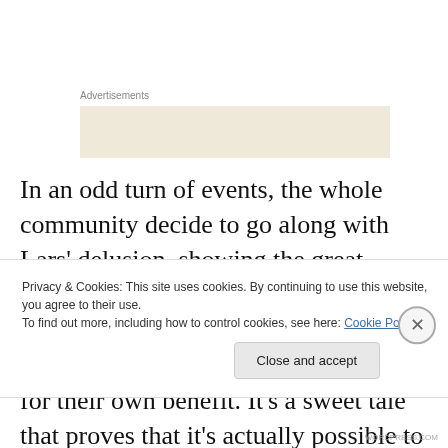Advertisements
[Figure (other): Advertisement placeholder box with beige/tan background]
In an odd turn of events, the whole community decide to go along with Lars' delusion, showing the great compassion that everyone has for Lars, and everyone in the community seems to draw something out of the situation for their own benefit. It's a sweet tale that proves that it's actually possible to love, without having to feel like
Privacy & Cookies: This site uses cookies. By continuing to use this website, you agree to their use.
To find out more, including how to control cookies, see here: Cookie Policy
Close and accept